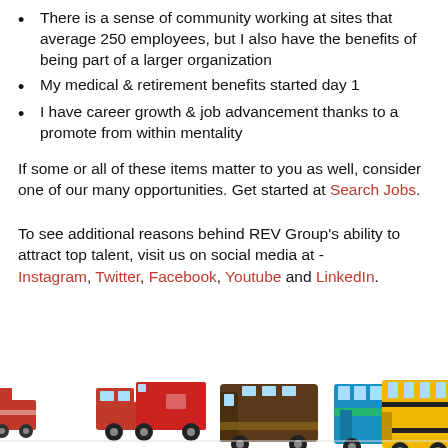There is a sense of community working at sites that average 250 employees, but I also have the benefits of being part of a larger organization
My medical & retirement benefits started day 1
I have career growth & job advancement thanks to a promote from within mentality
If some or all of these items matter to you as well, consider one of our many opportunities. Get started at Search Jobs.
To see additional reasons behind REV Group's ability to attract top talent, visit us on social media at - Instagram, Twitter, Facebook, Youtube and LinkedIn.
[Figure (photo): A row of REV Group vehicles including a fire apparatus/truck, an ambulance on a pickup, a large RV motorhome, a transit bus, and a yellow school bus.]